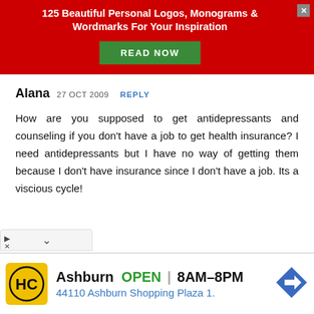[Figure (screenshot): Red advertisement banner with white bold text '125 Beautiful Personal Logos, Monograms & Wordmarks For Your Inspiration' and a green 'READ NOW' button, with a grey close X button in the top right.]
Alana 27 OCT 2009 REPLY
How are you supposed to get antidepressants and counseling if you don't have a job to get health insurance? I need antidepressants but I have no way of getting them because I don't have insurance since I don't have a job. Its a viscious cycle!
[Figure (screenshot): Bottom advertisement showing HC logo on yellow background, text 'Ashburn OPEN | 8AM-8PM' and '44110 Ashburn Shopping Plaza 1.' with blue navigation arrow icon on right.]